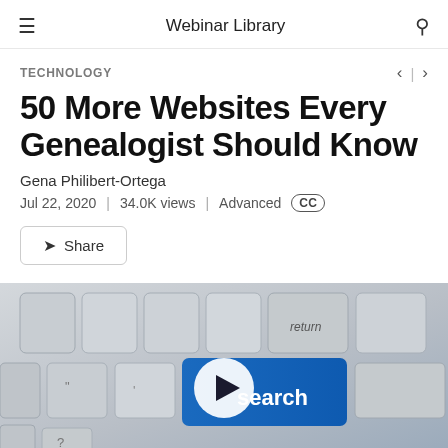Webinar Library
TECHNOLOGY
50 More Websites Every Genealogist Should Know
Gena Philibert-Ortega
Jul 22, 2020  |  34.0K views  |  Advanced  CC
Share
[Figure (photo): Close-up photo of a computer keyboard with a highlighted blue 'search' key, and a play button overlay in the center indicating a video thumbnail.]